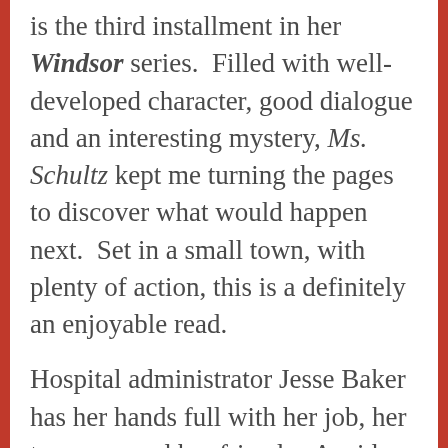is the third installment in her Windsor series.  Filled with well-developed character, good dialogue and an interesting mystery, Ms. Schultz kept me turning the pages to discover what would happen next.  Set in a small town, with plenty of action, this is a definitely an enjoyable read.
Hospital administrator Jesse Baker has her hands full with her job, her two sons and her friends.  A widow for over two years, Jesse is